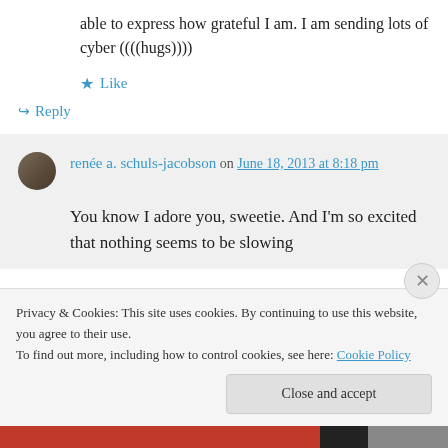able to express how grateful I am. I am sending lots of cyber ((((hugs))))
★ Like
↪ Reply
renée a. schuls-jacobson on June 18, 2013 at 8:18 pm
You know I adore you, sweetie. And I'm so excited that nothing seems to be slowing
Privacy & Cookies: This site uses cookies. By continuing to use this website, you agree to their use. To find out more, including how to control cookies, see here: Cookie Policy
Close and accept